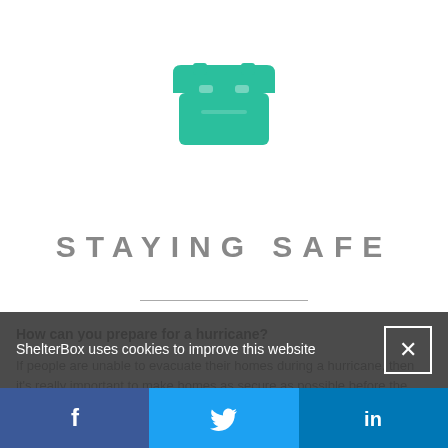[Figure (illustration): Teal/green icon of a storage box or emergency kit container with a lid]
STAYING SAFE
How can you prepare for a hurricane?
If people are unable to evacuate their homes during a hurricane, then it's really important to make homes as secure as possible before the storm hits.
ShelterBox uses cookies to improve this website
[Figure (infographic): Social media footer bar with Facebook, Twitter, and LinkedIn icons]